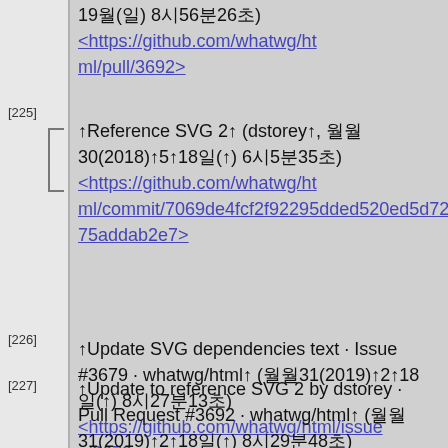19월(일) 8시56분26초) <https://github.com/whatwg/html/pull/3692>
[225] ↑Reference SVG 2↑ (dstorey↑, 월월30(2018)↑5↑18일(↑) 6시5분35초) <https://github.com/whatwg/html/commit/7069de4fcf2f92295dded520ed5d7275addab2e7>
[226] ↑Update SVG dependencies text · Issue #3679 · whatwg/html↑ (월월31(2019)↑2↑18일(↑) 8시27분13초) <https://github.com/whatwg/html/issues/3679>
[227] ↑Update to reference SVG 2 by dstorey · Pull Request #3692 · whatwg/html↑ (월월31(2019)↑2↑18일(↑) 8시29분48초) <https://github.com/whatwg/ht...